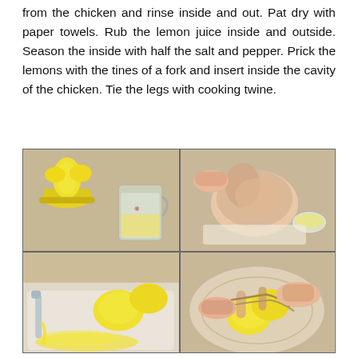from the chicken and rinse inside and out. Pat dry with paper towels. Rub the lemon juice inside and outside. Season the inside with half the salt and pepper. Prick the lemons with the tines of a fork and insert inside the cavity of the chicken. Tie the legs with cooking twine.
[Figure (photo): Four-panel photo collage showing recipe steps: top-left shows a yellow lemon juicer with lemons and a glass measuring cup with juice; top-right shows hands rubbing lemon juice on a raw chicken with a bowl of juice nearby; bottom-left shows lemons being squeezed with juice pooling on a surface; bottom-right shows hands tying chicken legs together with twine around two yellow lemons.]